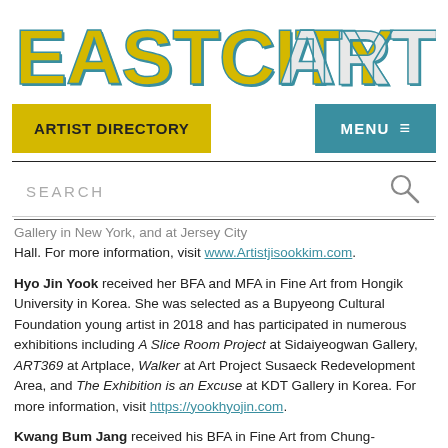[Figure (logo): EASTCITYART logo in large block letters, yellow/teal with shadow effect]
ARTIST DIRECTORY | MENU
SEARCH
...Gallery in New York, and at Jersey City Hall. For more information, visit www.Artistjisookkim.com.
Hyo Jin Yook received her BFA and MFA in Fine Art from Hongik University in Korea. She was selected as a Bupyeong Cultural Foundation young artist in 2018 and has participated in numerous exhibitions including A Slice Room Project at Sidaiyeogwan Gallery, ART369 at Artplace, Walker at Art Project Susaeck Redevelopment Area, and The Exhibition is an Excuse at KDT Gallery in Korea. For more information, visit https://yookhyojin.com.
Kwang Bum Jang received his BFA in Fine Art from Chung-